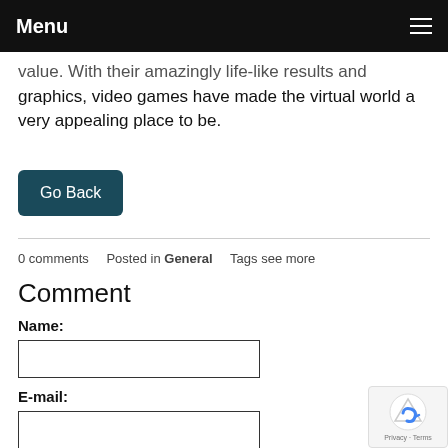Menu
value. With their amazingly life-like results and graphics, video games have made the virtual world a very appealing place to be.
Go Back
0 comments   Posted in General   Tags see more
Comment
Name:
E-mail: